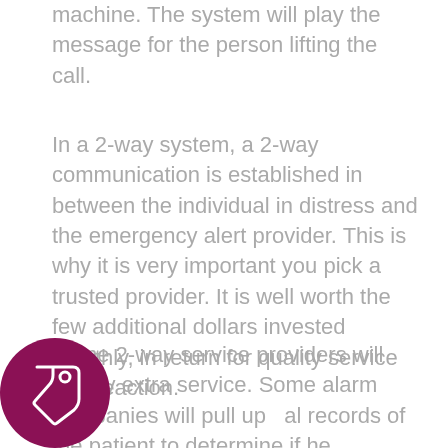machine. The system will play the message for the person lifting the call.
In a 2-way system, a 2-way communication is established in between the individual in distress and the emergency alert provider. This is why it is very important you pick a trusted provider. It is well worth the few additional dollars invested monthly, in return for quality service and reaction.
Some 2-way service providers will supply extra service. Some alarm companies will pull up al records of the patient to determine if he recognized medical issues. This ensures instant service and can prevent a lot of
[Figure (illustration): Dark magenta/purple circle icon with a price tag or label outline symbol in white]